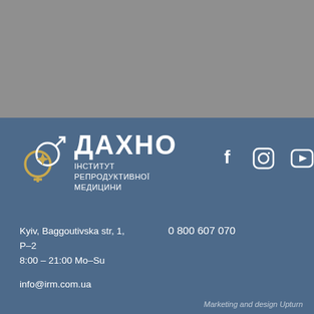[Figure (logo): ДАХНО Інститут Репродуктивної Медицини logo with gender symbol graphic and social media icons (Facebook, Instagram, YouTube)]
Kyiv, Baggoutivska str, 1, P–2
8:00 – 21:00 Mo–Su
0 800 607 070
info@irm.com.ua
Marketing and design Upturn